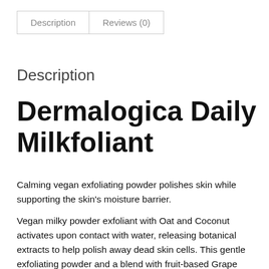| Description | Reviews (0) |
| --- | --- |
Description
Dermalogica Daily Milkfoliant
Calming vegan exfoliating powder polishes skin while supporting the skin's moisture barrier.
Vegan milky powder exfoliant with Oat and Coconut activates upon contact with water, releasing botanical extracts to help polish away dead skin cells. This gentle exfoliating powder and a blend with fruit-based Grape Extract and Arginine rich in Alpha Hydroxy Acids (AHAs) and Beta Hydroxy Acids (BHAs) work together